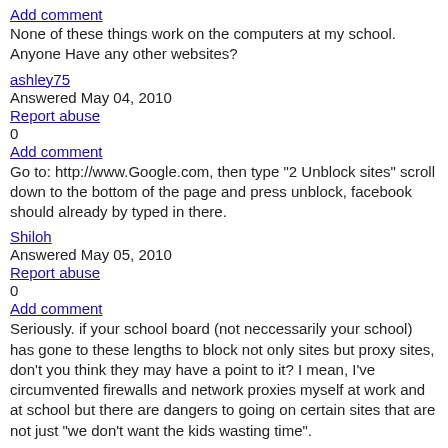Add comment
None of these things work on the computers at my school. Anyone Have any other websites?
ashley75
Answered May 04, 2010
Report abuse
0
Add comment
Go to: http://www.Google.com, then type "2 Unblock sites" scroll down to the bottom of the page and press unblock, facebook should already by typed in there.
Shiloh
Answered May 05, 2010
Report abuse
0
Add comment
Seriously. if your school board (not neccessarily your school) has gone to these lengths to block not only sites but proxy sites, don't you think they may have a point to it? I mean, I've circumvented firewalls and network proxies myself at work and at school but there are dangers to going on certain sites that are not just "we don't want the kids wasting time".
Otherwise, I recommend searching for a proxy installer at home